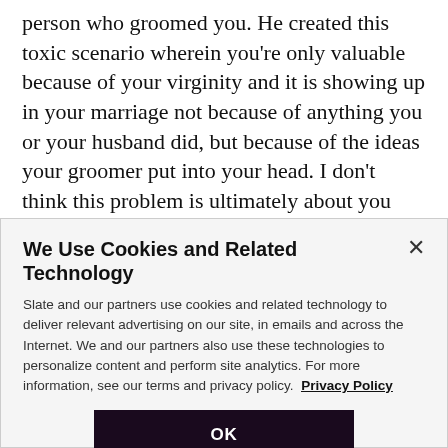person who groomed you. He created this toxic scenario wherein you're only valuable because of your virginity and it is showing up in your marriage not because of anything you or your husband did, but because of the ideas your groomer put into your head. I don't think this problem is ultimately about you and your husband so much as it is about the way you feel about yourself. The emotional and sexual relationship you have with your
We Use Cookies and Related Technology
Slate and our partners use cookies and related technology to deliver relevant advertising on our site, in emails and across the Internet. We and our partners also use these technologies to personalize content and perform site analytics. For more information, see our terms and privacy policy.  Privacy Policy